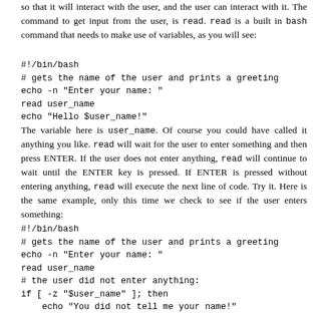so that it will interact with the user, and the user can interact with it. The command to get input from the user, is read. read is a built in bash command that needs to make use of variables, as you will see:
#!/bin/bash
# gets the name of the user and prints a greeting
echo -n "Enter your name: "
read user_name
echo "Hello $user_name!"
The variable here is user_name. Of course you could have called it anything you like. read will wait for the user to enter something and then press ENTER. If the user does not enter anything, read will continue to wait until the ENTER key is pressed. If ENTER is pressed without entering anything, read will execute the next line of code. Try it. Here is the same example, only this time we check to see if the user enters something:
#!/bin/bash
# gets the name of the user and prints a greeting
echo -n "Enter your name: "
read user_name
# the user did not enter anything:
if [ -z "$user_name" ]; then
    echo "You did not tell me your name!"
    exit
fi
echo "Hello $user_name!"